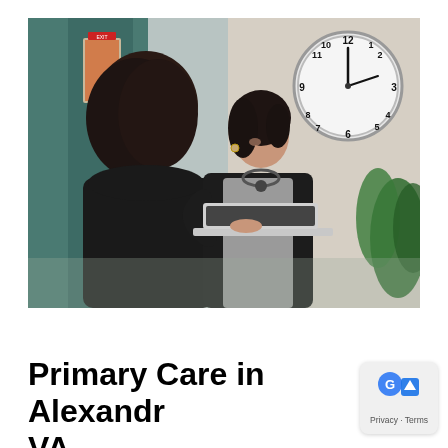[Figure (photo): A smiling female doctor with a stethoscope around her neck uses a laptop at a standing desk, speaking with a patient whose back is turned. A wall clock and green plant are visible in the background of a medical office hallway.]
Primary Care in Alexandria, VA